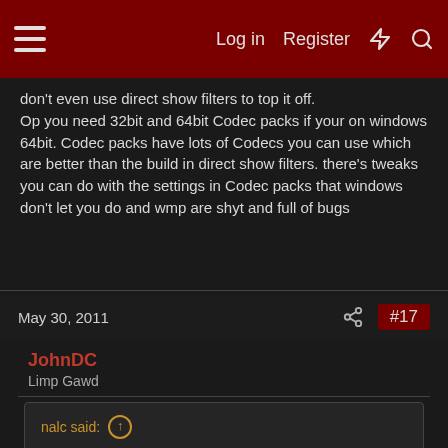Log in | Register | # | Search
don't even use direct show filters to top it off.

Op you need 32bit and 64bit Codec packs if your on windows 64bit. Codec packs have lots of Codecs you can use which are better than the build in direct show filters. there's tweaks you can do with the settings in Codec packs that windows don't let you do and wmp are shyt and full of bugs
May 30, 2011
#17
JohnDC
Limp Gawd
nalc said: ↑

Care to share, then? I spent some time reading up on the issue while trying to get MKVs to work in 7MC, and every single site I found said you need to install a codec pack to get 7MC to play them, and a registry edit for them to show up in the Media Library.